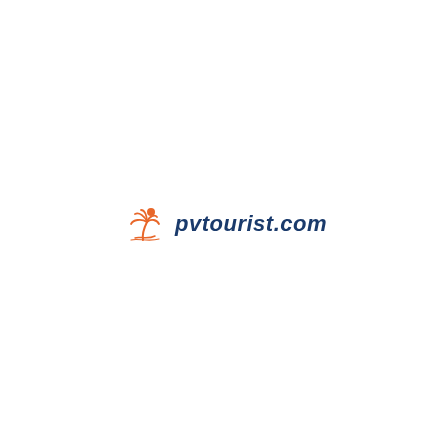[Figure (logo): pvtourist.com logo with orange palm tree / sun icon on the left and dark blue italic text 'pvtourist.com' on the right]